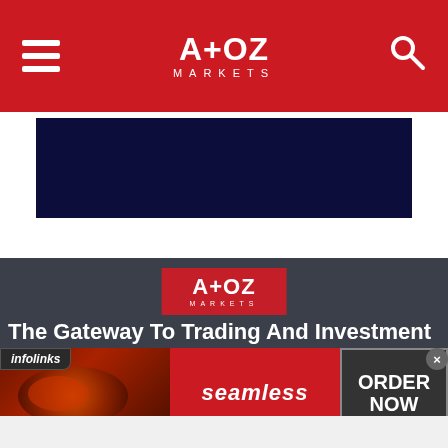A+OZ MARKETS
[Figure (screenshot): Dark navy blue advertisement banner placeholder]
[Figure (logo): A+OZ Markets logo on red background]
The Gateway To Trading And Investment Wisdom
Price Feeds
Live Price Feeds
Wheat Price Today
[Figure (screenshot): Infolinks advertisement banner with Seamless food delivery promotion. Shows pizza image on left, red 'seamless' button in center, and 'ORDER NOW' button on right with close X.]